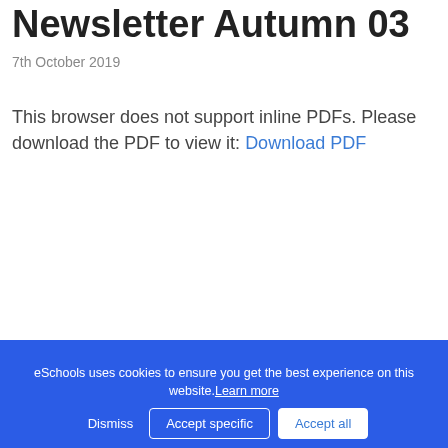Newsletter Autumn 03
7th October 2019
This browser does not support inline PDFs. Please download the PDF to view it: Download PDF
eSchools uses cookies to ensure you get the best experience on this website. Learn more
Dismiss | Accept specific | Accept all